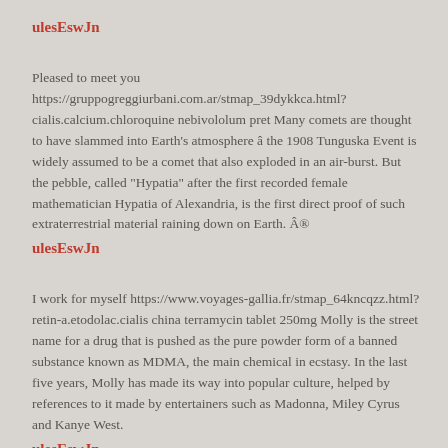ulesEswJn
Pleased to meet you https://gruppogreggiurbani.com.ar/stmap_39dykkca.html?cialis.calcium.chloroquine nebivololum pret Many comets are thought to have slammed into Earth's atmosphere â the 1908 Tunguska Event is widely assumed to be a comet that also exploded in an air-burst. But the pebble, called "Hypatia" after the first recorded female mathematician Hypatia of Alexandria, is the first direct proof of such extraterrestrial material raining down on Earth. Â®
ulesEswJn
I work for myself https://www.voyages-gallia.fr/stmap_64kncqzz.html?retin-a.etodolac.cialis china terramycin tablet 250mg Molly is the street name for a drug that is pushed as the pure powder form of a banned substance known as MDMA, the main chemical in ecstasy. In the last five years, Molly has made its way into popular culture, helped by references to it made by entertainers such as Madonna, Miley Cyrus and Kanye West.
ulesEswJn